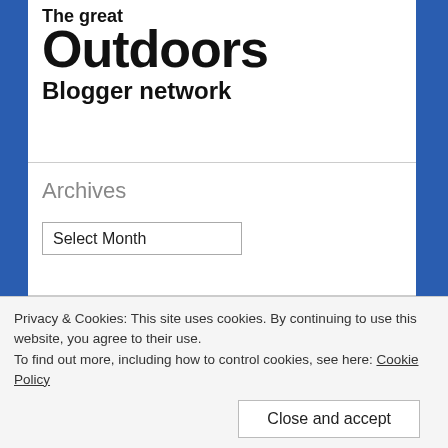[Figure (logo): The Great Outdoors Blogger network logo — large bold black text]
Archives
Select Month (dropdown)
Categories
Privacy & Cookies: This site uses cookies. By continuing to use this website, you agree to their use. To find out more, including how to control cookies, see here: Cookie Policy
Close and accept